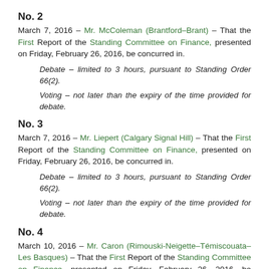No. 2
March 7, 2016 — Mr. McColeman (Brantford–Brant) — That the First Report of the Standing Committee on Finance, presented on Friday, February 26, 2016, be concurred in.
Debate — limited to 3 hours, pursuant to Standing Order 66(2).
Voting — not later than the expiry of the time provided for debate.
No. 3
March 7, 2016 — Mr. Liepert (Calgary Signal Hill) — That the First Report of the Standing Committee on Finance, presented on Friday, February 26, 2016, be concurred in.
Debate — limited to 3 hours, pursuant to Standing Order 66(2).
Voting — not later than the expiry of the time provided for debate.
No. 4
March 10, 2016 — Mr. Caron (Rimouski-Neigette–Témiscouata–Les Basques) — That the First Report of the Standing Committee on Finance, presented on Friday, February 26, 2016, be concurred in.
Debate — limited to 3 hours, pursuant to Standing Order 66(2).